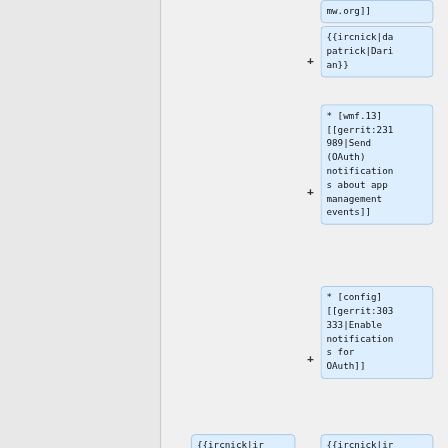mw.org]]
{{ircnick|dapatrick|Darian}}
* [wmf.13] [[gerrit:231989|Send (OAuth) notifications about app management events]]
* [config] [[gerrit:303333|Enable notifications for OAuth]]
{{ircnick|ir
{{ircnick|ir